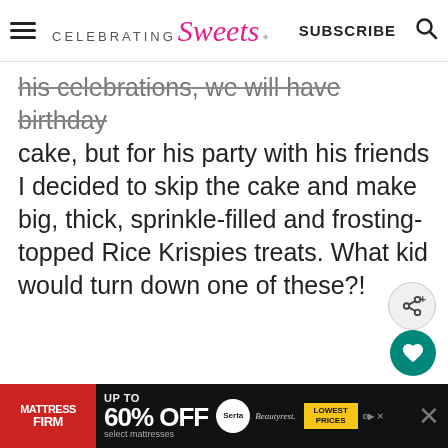CELEBRATING Sweets — SUBSCRIBE [search icon]
his celebrations, we will have birthday cake, but for his party with his friends I decided to skip the cake and make big, thick, sprinkle-filled and frosting-topped Rice Krispies treats. What kid would turn down one of these?!
[Figure (photo): Blurred food photograph showing pink/white frosted Rice Krispies treats]
WHAT'S NEXT → Mixed Berry Vanilla Bake...
[Figure (advertisement): Mattress Firm ad banner: UP TO 60% OFF select mattresses, Serta Beautyrest, LOWEST PRICES]